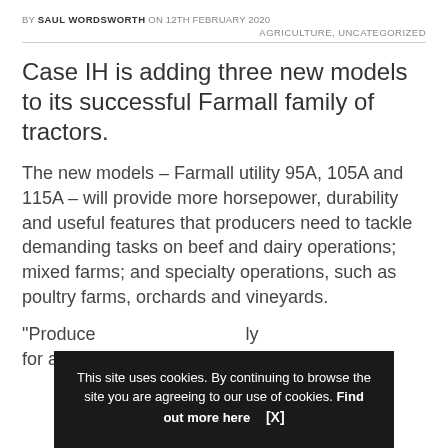BY SAUL WORDSWORTH ON 12TH FEBRUARY 2020
AGRICULTURE, UNCATEGORIZED
Case IH is adding three new models to its successful Farmall family of tractors.
The new models – Farmall utility 95A, 105A and 115A – will provide more horsepower, durability and useful features that producers need to tackle demanding tasks on beef and dairy operations; mixed farms; and specialty operations, such as poultry farms, orchards and vineyards.
“Produce… [partially obscured] …ly for a ha… [partially obscured]
This site uses cookies. By continuing to browse the site you are agreeing to our use of cookies. Find out more here  [X]